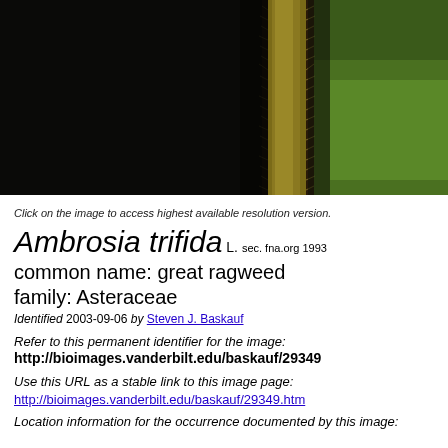[Figure (photo): Close-up macro photograph of a plant stem (Ambrosia trifida / great ragweed) showing fine hairs/trichomes on the stem, with dark background on the left and green leaf visible on the right.]
Click on the image to access highest available resolution version.
Ambrosia trifida L. sec. fna.org 1993
common name: great ragweed
family: Asteraceae
Identified 2003-09-06 by Steven J. Baskauf
Refer to this permanent identifier for the image:
http://bioimages.vanderbilt.edu/baskauf/29349
Use this URL as a stable link to this image page:
http://bioimages.vanderbilt.edu/baskauf/29349.htm
Location information for the occurrence documented by this image: